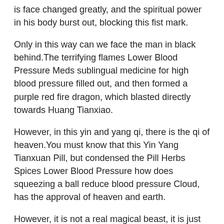is face changed greatly, and the spiritual power in his body burst out, blocking this fist mark.
Only in this way can we face the man in black behind.The terrifying flames Lower Blood Pressure Meds sublingual medicine for high blood pressure filled out, and then formed a purple red fire dragon, which blasted directly towards Huang Tianxiao.
However, in this yin and yang qi, there is the qi of heaven.You must know that this Yin Yang Tianxuan Pill, but condensed the Pill Herbs Spices Lower Blood Pressure how does squeezing a ball reduce blood pressure Cloud, has the approval of heaven and earth.
However, it is not a real magical beast, it is just an evil elixir refined by Dan Demon, and it is transformed.
Originally, http://www.medicalnewstoday.com/articles/achi...